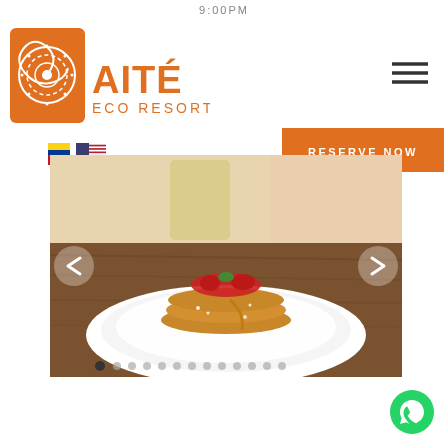9:00PM
[Figure (logo): Aité Eco Resort logo: orange square with spiral sun motif and text AITÉ ECO RESORT]
[Figure (illustration): Hamburger menu icon (three horizontal lines) in top right]
[Figure (photo): Colombian and US flag icons for language selection]
[Figure (photo): Slideshow image of pancakes with toppings on a white plate on a wooden table, with a juice glass in background. Left and right navigation arrows. Dot indicators at bottom showing multiple slides.]
[Figure (illustration): RESERVE NOW orange button]
[Figure (illustration): WhatsApp green circular button in bottom right corner]